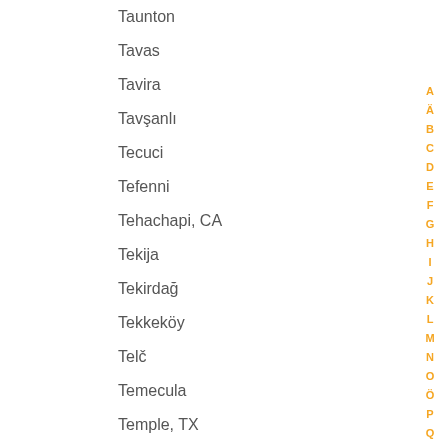Taunton
Tavas
Tavira
Tavşanlı
Tecuci
Tefenni
Tehachapi, CA
Tekija
Tekirdağ
Tekkeköy
Telč
Temecula
Temple, TX
Teplice
Teramo